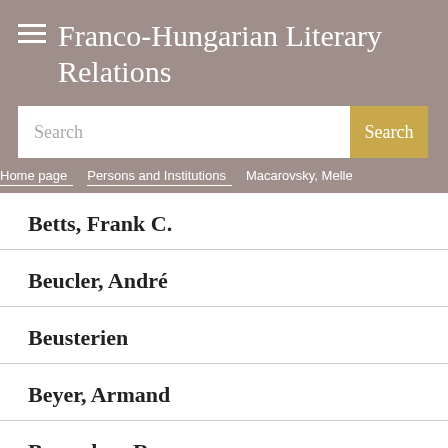Franco-Hungarian Literary Relations
Home page > Persons and Institutions > Macarovsky, Melle
Betts, Frank C.
Beucler, André
Beusterien
Beyer, Armand
Bezombes, Roger